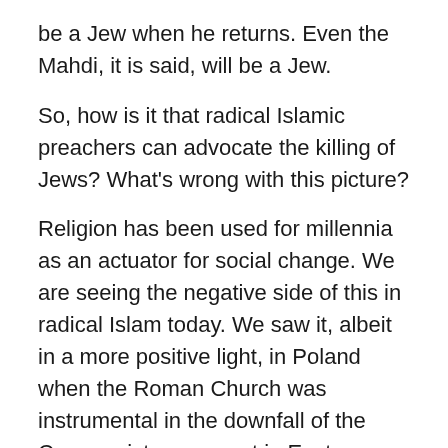be a Jew when he returns. Even the Mahdi, it is said, will be a Jew.
So, how is it that radical Islamic preachers can advocate the killing of Jews? What's wrong with this picture?
Religion has been used for millennia as an actuator for social change. We are seeing the negative side of this in radical Islam today. We saw it, albeit in a more positive light, in Poland when the Roman Church was instrumental in the downfall of the Communist movement in Eastern Europe. We saw it in the spread of Christian “Liberation Theology” in Central America, the correctness of which is still debated within the church. We saw it in the time of Mohammed, and in the time of Jesus. We saw it in every revolt against the Greek and Roman empires in the Middle East.